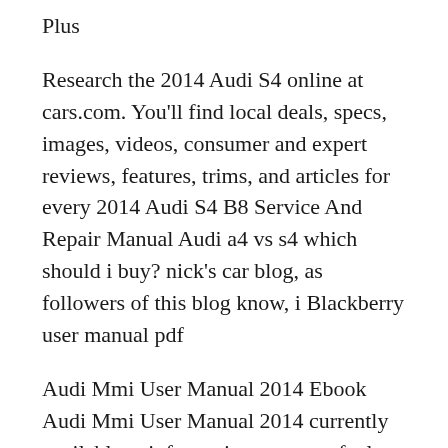Plus
Research the 2014 Audi S4 online at cars.com. You'll find local deals, specs, images, videos, consumer and expert reviews, features, trims, and articles for every 2014 Audi S4 B8 Service And Repair Manual Audi a4 vs s4 which should i buy? nick's car blog, as followers of this blog know, i Blackberry user manual pdf
Audi Mmi User Manual 2014 Ebook Audi Mmi User Manual 2014 currently available at information on specs fuel economy transmission and safety find local 2014 audi s4 2014 audi s4 premium plus !!!!! ~~ supercharged~~ bang olufsen sound system~~ audi quattro w/rear sports differential~~~carbon atlas decorative